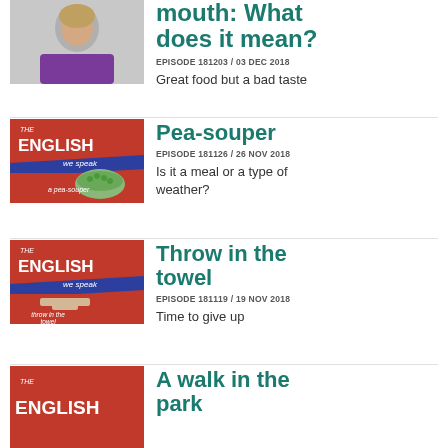[Figure (photo): Woman in purple top, photo partially cropped at top]
mouth: What does it mean?
EPISODE 181203 / 03 DEC 2018
Great food but a bad taste
[Figure (illustration): The English We Speak thumbnail showing pea soup and peas - a pea-souper]
Pea-souper
EPISODE 181126 / 26 NOV 2018
Is it a meal or a type of weather?
[Figure (illustration): The English We Speak thumbnail showing hands on table - throw in the towel]
Throw in the towel
EPISODE 181119 / 19 NOV 2018
Time to give up
[Figure (illustration): The English We Speak thumbnail - A walk in the park (partially visible)]
A walk in the park